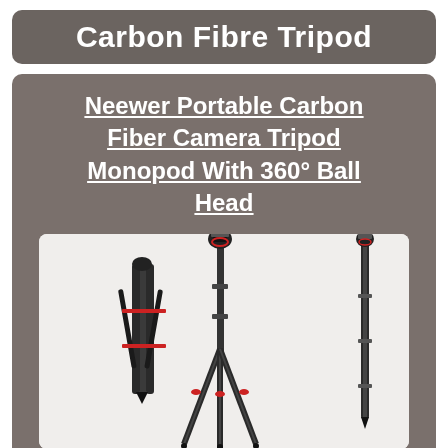Carbon Fibre Tripod
Neewer Portable Carbon Fiber Camera Tripod Monopod With 360° Ball Head
[Figure (photo): Product photo showing three views of a carbon fiber camera tripod/monopod: folded compact view on the left, full tripod with ball head in the center, and monopod configuration on the right, all shown against a light background.]